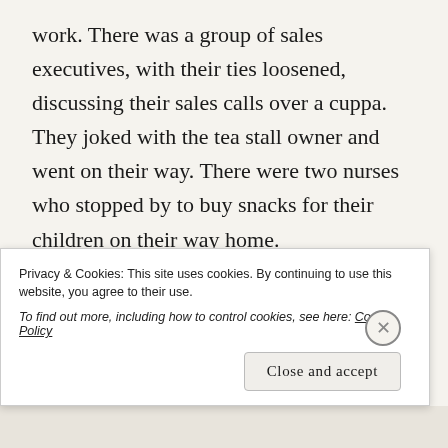work. There was a group of sales executives, with their ties loosened, discussing their sales calls over a cuppa. They joked with the tea stall owner and went on their way. There were two nurses who stopped by to buy snacks for their children on their way home.
There was an old woman, who would also visit the tea stall at the same time. Her...
Privacy & Cookies: This site uses cookies. By continuing to use this website, you agree to their use.
To find out more, including how to control cookies, see here: Cookie Policy